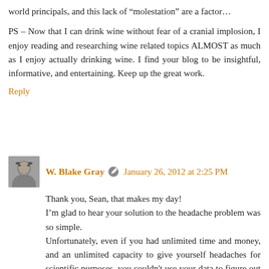world principals, and this lack of “molestation” are a factor…
PS – Now that I can drink wine without fear of a cranial implosion, I enjoy reading and researching wine related topics ALMOST as much as I enjoy actually drinking wine. I find your blog to be insightful, informative, and entertaining. Keep up the great work.
Reply
W. Blake Gray • January 26, 2012 at 2:25 PM
Thank you, Sean, that makes my day!
I’m glad to hear your solution to the headache problem was so simple.
Unfortunately, even if you had unlimited time and money, and an unlimited capacity to give yourself headaches for scientific purposes, you couldn't use your data to figure out what actually causes you problems, because wineries are